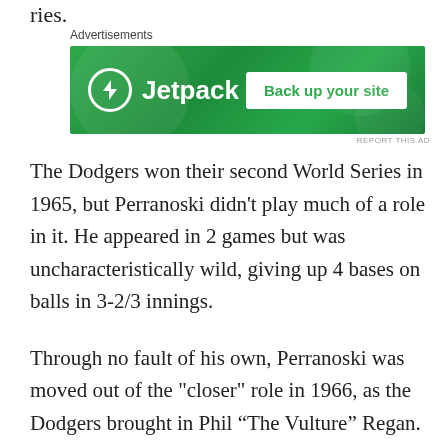ries.
[Figure (other): Jetpack advertisement banner: green background with Jetpack logo (lightning bolt icon) and text 'Jetpack' on left, white button 'Back up your site' on right. Label 'Advertisements' above. 'REPORT THIS AD' text below right.]
The Dodgers won their second World Series in 1965, but Perranoski didn't play much of a role in it. He appeared in 2 games but was uncharacteristically wild, giving up 4 bases on balls in 3-2/3 innings.
Through no fault of his own, Perranoski was moved out of the "closer" role in 1966, as the Dodgers brought in Phil “The Vulture” Regan. Perranoski was held to 6 saves, but the two pitchers changed roles in 1967. Perranoski once again led the Dodgers with 16 saves, while Regan